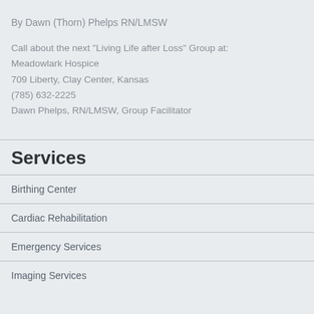By Dawn (Thorn) Phelps RN/LMSW
Call about the next "Living Life after Loss" Group at:
Meadowlark Hospice
709 Liberty, Clay Center, Kansas
(785) 632-2225
Dawn Phelps, RN/LMSW, Group Facilitator
Services
Birthing Center
Cardiac Rehabilitation
Emergency Services
Imaging Services